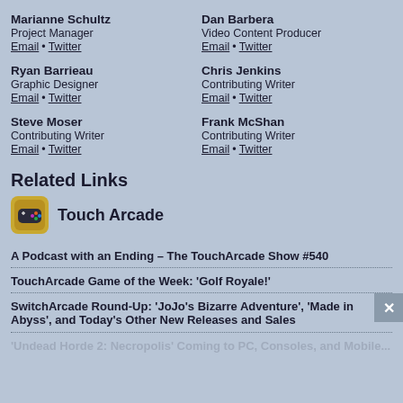Marianne Schultz
Project Manager
Email • Twitter
Dan Barbera
Video Content Producer
Email • Twitter
Ryan Barrieau
Graphic Designer
Email • Twitter
Chris Jenkins
Contributing Writer
Email • Twitter
Steve Moser
Contributing Writer
Email • Twitter
Frank McShan
Contributing Writer
Email • Twitter
Related Links
[Figure (logo): Touch Arcade app icon logo — yellow and dark stylized controller/game icon]
Touch Arcade
A Podcast with an Ending – The TouchArcade Show #540
TouchArcade Game of the Week: 'Golf Royale!'
SwitchArcade Round-Up: 'JoJo's Bizarre Adventure', 'Made in Abyss', and Today's Other New Releases and Sales
'Undead Horde 2: Necropolis' Coming to PC, Consoles, and Mobile...